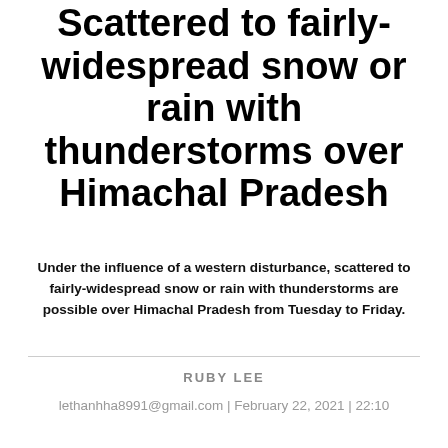Scattered to fairly-widespread snow or rain with thunderstorms over Himachal Pradesh
Under the influence of a western disturbance, scattered to fairly-widespread snow or rain with thunderstorms are possible over Himachal Pradesh from Tuesday to Friday.
RUBY LEE
lethanhha8991@gmail.com | February 22, 2021 | 22:10